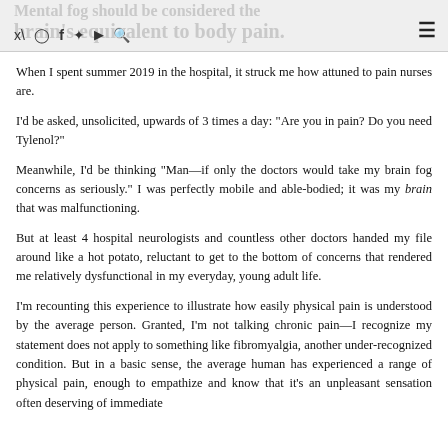Mental fog should be considered the brain's equivalent to body pain.
When I spent summer 2019 in the hospital, it struck me how attuned to pain nurses are.
I'd be asked, unsolicited, upwards of 3 times a day: "Are you in pain? Do you need Tylenol?"
Meanwhile, I'd be thinking "Man—if only the doctors would take my brain fog concerns as seriously." I was perfectly mobile and able-bodied; it was my brain that was malfunctioning.
But at least 4 hospital neurologists and countless other doctors handed my file around like a hot potato, reluctant to get to the bottom of concerns that rendered me relatively dysfunctional in my everyday, young adult life.
I'm recounting this experience to illustrate how easily physical pain is understood by the average person. Granted, I'm not talking chronic pain—I recognize my statement does not apply to something like fibromyalgia, another under-recognized condition. But in a basic sense, the average human has experienced a range of physical pain, enough to empathize and know that it's an unpleasant sensation often deserving of immediate